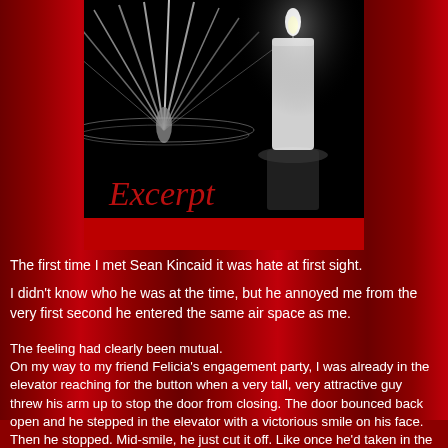[Figure (illustration): Black and white photo of an open book with pages fanning out, alongside a lit white candle, on a black background. Red cursive text 'Excerpt' overlaid on the lower left of the image. Below the image is a red horizontal bar.]
The first time I met Sean Kincaid it was hate at first sight.
I didn't know who he was at the time, but he annoyed me from the very first second he entered the same air space as me.
The feeling had clearly been mutual.
On my way to my friend Felicia's engagement party, I was already in the elevator reaching for the button when a very tall, very attractive guy threw his arm up to stop the door from closing. The door bounced back open and he stepped in the elevator with a victorious smile on his face.
Then he stopped. Mid-smile, he just cut it off. Like once he'd taken in the view of me, and made eye contact, he'd decided